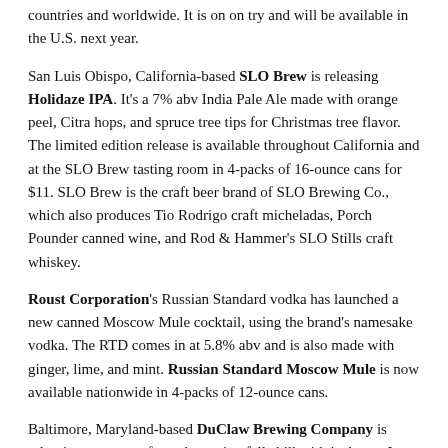…countries and worldwide. It is on on try and will be available in the U.S. next year.
San Luis Obispo, California-based SLO Brew is releasing Holidaze IPA. It's a 7% abv India Pale Ale made with orange peel, Citra hops, and spruce tree tips for Christmas tree flavor. The limited edition release is available throughout California and at the SLO Brew tasting room in 4-packs of 16-ounce cans for $11. SLO Brew is the craft beer brand of SLO Brewing Co., which also produces Tio Rodrigo craft micheladas, Porch Pounder canned wine, and Rod & Hammer's SLO Stills craft whiskey.
Roust Corporation's Russian Standard vodka has launched a new canned Moscow Mule cocktail, using the brand's namesake vodka. The RTD comes in at 5.8% abv and is also made with ginger, lime, and mint. Russian Standard Moscow Mule is now available nationwide in 4-packs of 12-ounce cans.
Baltimore, Maryland-based DuClaw Brewing Company is releasing an escape from deepening fall chill with its latest. Its